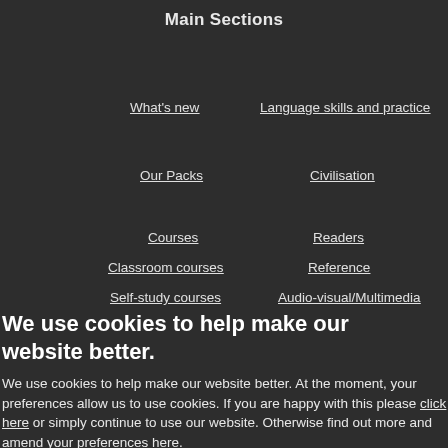Main Sections
What's new
Language skills and practice
Our Packs
Civilisation
Courses
Readers
Classroom courses
Reference
Self-study courses
Audio-visual/Multimedia
We use cookies to help make our website better.
We use cookies to help make our website better. At the moment, your preferences allow us to use cookies. If you are happy with this please click here or simply continue to use our website. Otherwise find out more and amend your preferences here.